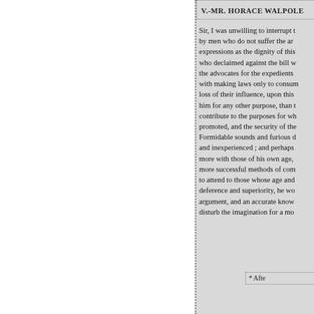V.-MR. HORACE WALPOLE
Sir, I was unwilling to interrupt t by men who do not suffer the ar expressions as the dignity of this who declaimed against the bill w the advocates for the expedients with making laws only to consum loss of their influence, upon this him for any other purpose, than contribute to the purposes for wh promoted, and the security of the Formidable sounds and furious d and inexperienced ; and perhaps more with those of his own age, more successful methods of com to attend to those whose age and deference and superiority, he wo argument, and an accurate know disturb the imagination for a mo
* Afte
« Anterior